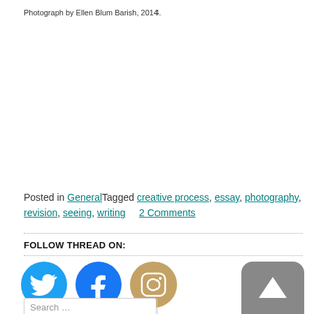Photograph by Ellen Blum Barish, 2014.
Posted in GeneralTagged creative process, essay, photography, revision, seeing, writing    2 Comments
FOLLOW THREAD ON:
[Figure (logo): Twitter bird icon circle (blue)]
[Figure (logo): Facebook F icon circle (dark blue)]
[Figure (logo): Instagram camera icon circle (tan/gold)]
[Figure (other): Scroll to top button (grey rounded square with up arrow)]
Search …